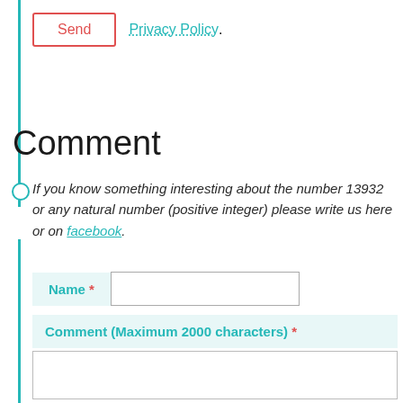Send   Privacy Policy.
Comment
If you know something interesting about the number 13932 or any natural number (positive integer) please write us here or on facebook.
Name *
Comment (Maximum 2000 characters) *